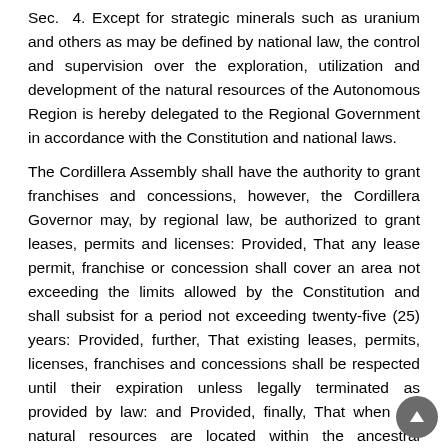Sec. 4. Except for strategic minerals such as uranium and others as may be defined by national law, the control and supervision over the exploration, utilization and development of the natural resources of the Autonomous Region is hereby delegated to the Regional Government in accordance with the Constitution and national laws.
The Cordillera Assembly shall have the authority to grant franchises and concessions, however, the Cordillera Governor may, by regional law, be authorized to grant leases, permits and licenses: Provided, That any lease permit, franchise or concession shall cover an area not exceeding the limits allowed by the Constitution and shall subsist for a period not exceeding twenty-five (25) years: Provided, further, That existing leases, permits, licenses, franchises and concessions shall be respected until their expiration unless legally terminated as provided by law: and Provided, finally, That when the natural resources are located within the ancestral domain, the permit, license, franchise or concession, shall be approved by the Cordillera Assembly after